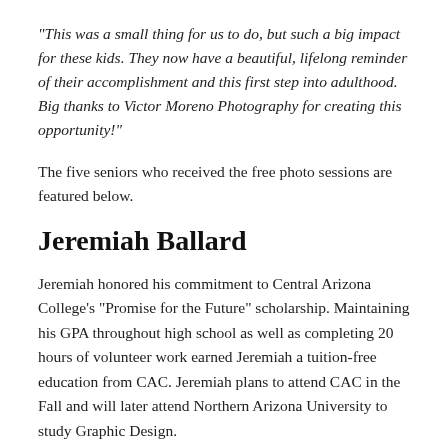“This was a small thing for us to do, but such a big impact for these kids. They now have a beautiful, lifelong reminder of their accomplishment and this first step into adulthood. Big thanks to Victor Moreno Photography for creating this opportunity!”
The five seniors who received the free photo sessions are featured below.
Jeremiah Ballard
Jeremiah honored his commitment to Central Arizona College’s “Promise for the Future” scholarship. Maintaining his GPA throughout high school as well as completing 20 hours of volunteer work earned Jeremiah a tuition-free education from CAC. Jeremiah plans to attend CAC in the Fall and will later attend Northern Arizona University to study Graphic Design.